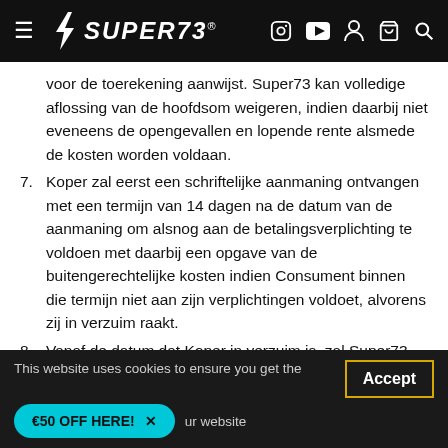SUPER73 navigation bar
voor de toerekening aanwijst. Super73 kan volledige aflossing van de hoofdsom weigeren, indien daarbij niet eveneens de opengevallen en lopende rente alsmede de kosten worden voldaan.
7. Koper zal eerst een schriftelijke aanmaning ontvangen met een termijn van 14 dagen na de datum van de aanmaning om alsnog aan de betalingsverplichting te voldoen met daarbij een opgave van de buitengerechtelijke kosten indien Consument binnen die termijn niet aan zijn verplichtingen voldoet, alvorens zij in verzuim raakt.
8. Vanaf de datum dat Koper in verzuim is, zal Super73 zonder nadere ingebrekestelling aanspraak maken op de wettelijke (handels)rente vanaf de eerste verzuimdag tot algehele
This website uses cookies to ensure you get the best experience on our website
€50 OFF HERE!
Accept